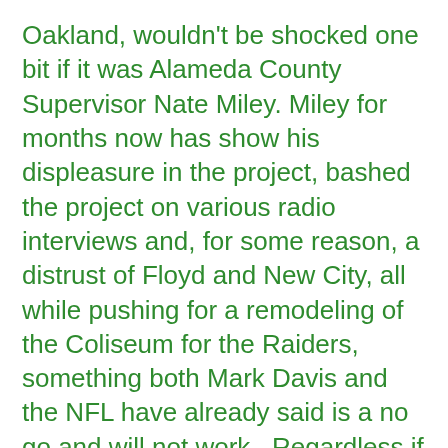Oakland, wouldn't be shocked one bit if it was Alameda County Supervisor Nate Miley. Miley for months now has show his displeasure in the project, bashed the project on various radio interviews and, for some reason, a distrust of Floyd and New City, all while pushing for a remodeling of the Coliseum for the Raiders, something both Mark Davis and the NFL have already said is a no go and will not work. Regardless if it was him or someone else, whoever was the source of leaking the information really must not give a damn if they end up derailing this project.
“The really important thing is that the City or County or both violated a confidentiality agreement they have with New City and each other.  The violation of the confidentiality by releasing this portion of the deliverables before there was any discussion between the parties have shown New City and shown the entire negotiation...